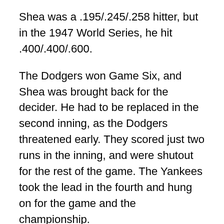Shea was a .195/.245/.258 hitter, but in the 1947 World Series, he hit .400/.400/.600.
The Dodgers won Game Six, and Shea was brought back for the decider. He had to be replaced in the second inning, as the Dodgers threatened early. They scored just two runs in the inning, and were shutout for the rest of the game. The Yankees took the lead in the fourth and hung on for the game and the championship.
While it's certainly still possible, the odds of a Yankee starter providing one of the game-deciding hits in a playoff game are becoming slimmer by the years.
Sources
https://sabr.org/bioproj/person/b6531e24